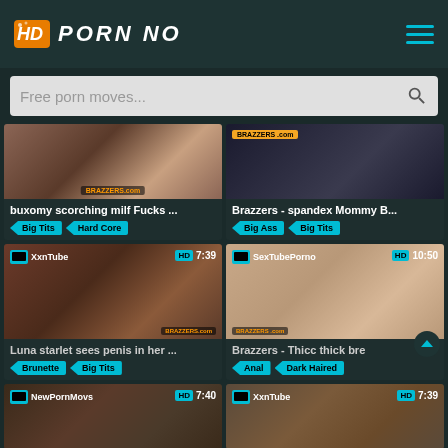HD PORN NO
Free porn moves...
[Figure (screenshot): Video thumbnail 1 - buxomy scorching milf]
buxomy scorching milf Fucks ...
Big Tits  Hard Core
[Figure (screenshot): Video thumbnail 2 - Brazzers spandex Mommy]
Brazzers - spandex Mommy B...
Big Ass  Big Tits
[Figure (screenshot): Video thumbnail 3 - XxnTube 7:39 HD - Luna starlet]
Luna starlet sees penis in her ...
Brunette  Big Tits
[Figure (screenshot): Video thumbnail 4 - SexTubePorno 10:50 HD - Brazzers Thicc]
Brazzers - Thicc thick bre
Anal  Dark Haired
[Figure (screenshot): Video thumbnail 5 - NewPornMovs 7:40 HD]
[Figure (screenshot): Video thumbnail 6 - XxnTube 7:39 HD]